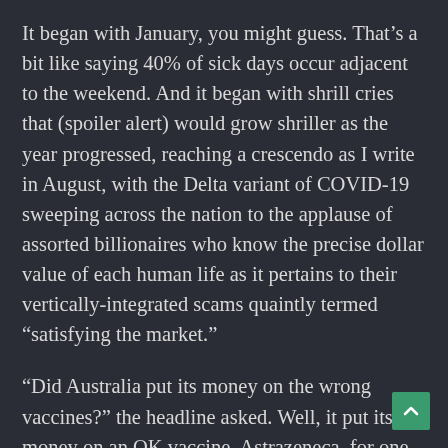It began with January, you might guess. That's a bit like saying 40% of sick days occur adjacent to the weekend. And it began with shrill cries that (spoiler alert) would grow shriller as the year progressed, reaching a crescendo as I write in August, with the Delta variant of COVID-19 sweeping across the nation to the applause of assorted billionaires who know the precise dollar value of each human life as it pertains to their vertically-integrated scams quaintly termed "satisfying the market."
“Did Australia put its money on the wrong vaccines?” the headline asked. Well, it put its money on an OK vaccine, Astrazeneca, for one good reason: we were able to manufacture it at the country’s Central Serum